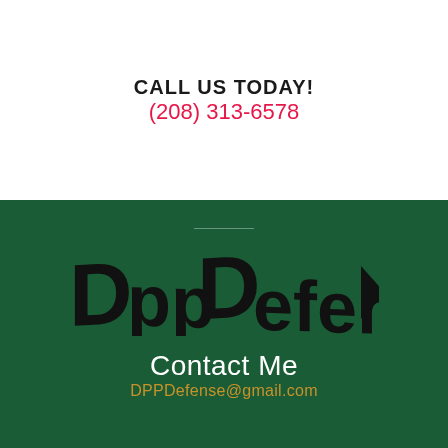CALL US TODAY!
(208) 313-6578
[Figure (logo): DPP DEFENSE logo in bold black stylized text with a play-button arrow triangle at the end, on a dark green background]
Contact Me
DPPDefense@gmail.com